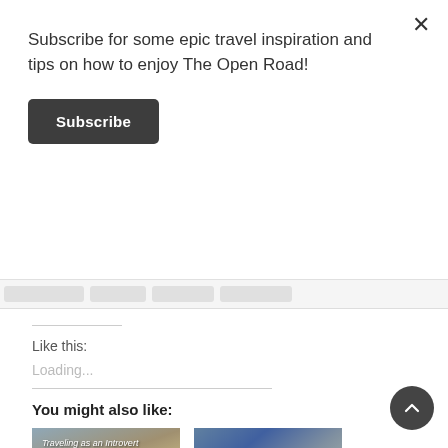Subscribe for some epic travel inspiration and tips on how to enjoy The Open Road!
Subscribe
Like this:
Loading...
You might also like:
[Figure (photo): Thumbnail image with text 'Traveling as an Introvert' showing a hiker on a rocky mountainous landscape]
[Figure (photo): Thumbnail image showing a group of smiling people on a bus, one holding a sign reading 'Aydin']